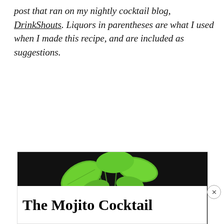post that ran on my nightly cocktail blog, DrinkShouts. Liquors in parentheses are what I used when I made this recipe, and are included as suggestions.
[Figure (photo): A mojito cocktail in a rocks glass with crushed ice and fresh mint sprigs on top, photographed on a dark background.]
The Mojito Cocktail